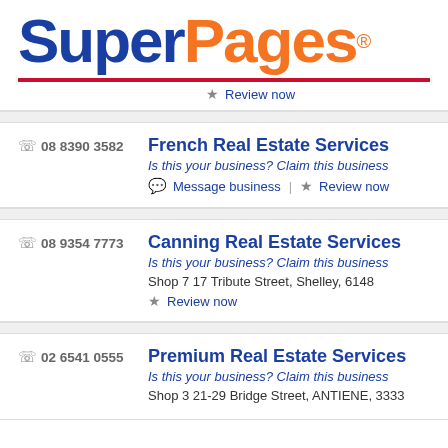[Figure (logo): SuperPages logo with 'Super' in dark blue bold and 'Pages' in orange bold with registered trademark symbol]
Review now
08 8390 3582 | French Real Estate Services | Is this your business? Claim this business | Message business | Review now
08 9354 7773 | Canning Real Estate Services | Is this your business? Claim this business | Shop 7 17 Tribute Street, Shelley, 6148 | Review now
02 6541 0555 | Premium Real Estate Services | Is this your business? Claim this business | Shop 3 21-29 Bridge Street, ANTIENE, 3333